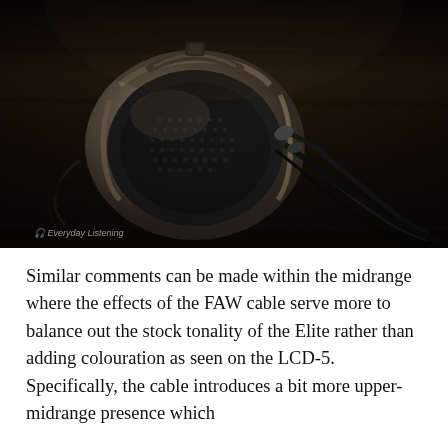[Figure (photo): Dark atmospheric product photo of a high-end over-ear headphone (appears to be Hifiman Elite) lying on a dark wooden surface with cables visible. The headphone has a distinctive oval earcup with metallic frame. Small watermark/caption in bottom left corner reading 'Everyday Listening'.]
Everyday Listening
Similar comments can be made within the midrange where the effects of the FAW cable serve more to balance out the stock tonality of the Elite rather than adding colouration as seen on the LCD-5. Specifically, the cable introduces a bit more upper-midrange presence which help to heighten a more analytical listening at the